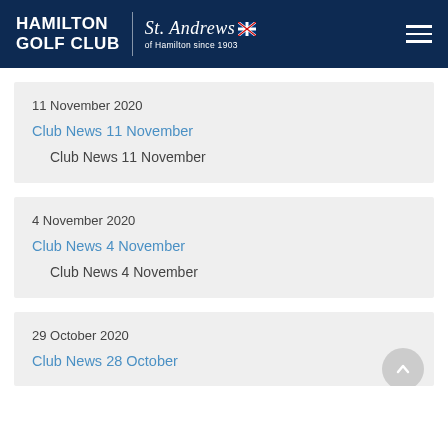HAMILTON GOLF CLUB | St. Andrews of Hamilton since 1903
11 November 2020
Club News 11 November
Club News 11 November
4 November 2020
Club News 4 November
Club News 4 November
29 October 2020
Club News 28 October